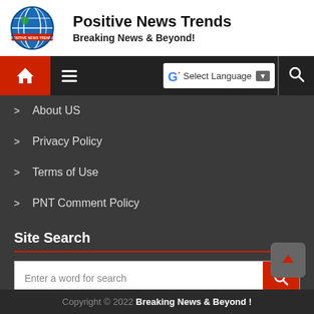[Figure (logo): Positive News Trends globe logo with banner]
Positive News Trends
Breaking News & Beyond!
[Figure (other): Navigation bar with home icon, hamburger menu, Google Translate language selector, and search icon]
About US
Privacy Policy
Terms of Use
PNT Comment Policy
Site Search
[Figure (other): Search input box with placeholder 'Enter a word for search' and red search button]
Copyright © 2022 Breaking News & Beyond !